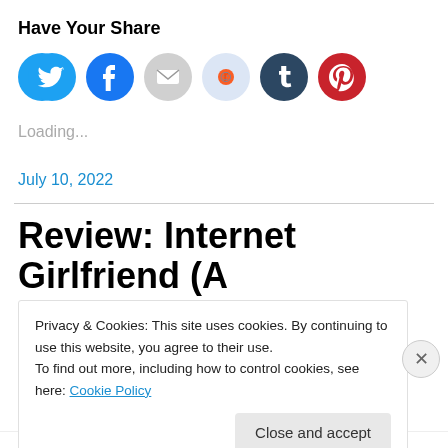Have Your Share
[Figure (illustration): Six social media sharing icon buttons in colored circles: Twitter (blue), Facebook (blue), Email (gray), Reddit (light blue), Tumblr (dark navy), Pinterest (red)]
Loading...
July 10, 2022
Review: Internet Girlfriend (A
Privacy & Cookies: This site uses cookies. By continuing to use this website, you agree to their use.
To find out more, including how to control cookies, see here: Cookie Policy
Close and accept